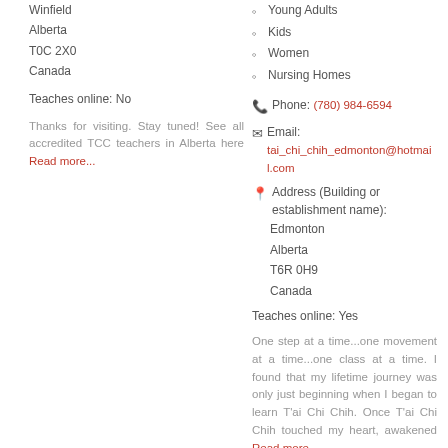Winfield
Alberta
T0C 2X0
Canada
Teaches online: No
Thanks for visiting. Stay tuned! See all accredited TCC teachers in Alberta here Read more...
Young Adults
Kids
Women
Nursing Homes
Phone: (780) 984-6594
Email: tai_chi_chih_edmonton@hotmail.com
Address (Building or establishment name):
Edmonton
Alberta
T6R 0H9
Canada
Teaches online: Yes
One step at a time...one movement at a time...one class at a time. I found that my lifetime journey was only just beginning when I began to learn T'ai Chi Chih. Once T'ai Chi Chih touched my heart, awakened Read more...